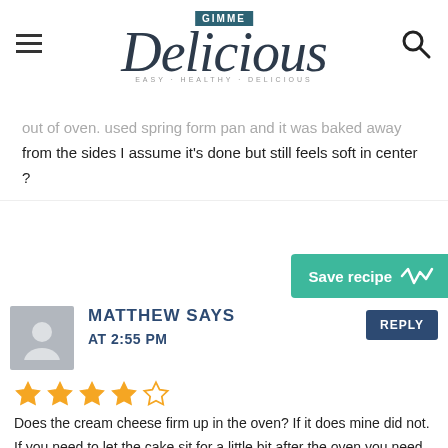GIMME Delicious EASY · HEALTHY · DELICIOUS
out of oven. used spring form pan and it was baked away from the sides I assume it's done but still feels soft in center ?
Save recipe
MATTHEW SAYS
AT 2:55 PM
REPLY
[Figure (other): 4 out of 5 stars rating]
Does the cream cheese firm up in the oven? If it does mine did not. If you need to let the cake sit for a little bit after the oven you need to indicate that in the instructions. I cut mine after the bake and the cream cheese gushed out. Disappointed but BUT the cake is moist and tasty and the crumble is very nice. Will try again which is a good sign for others.